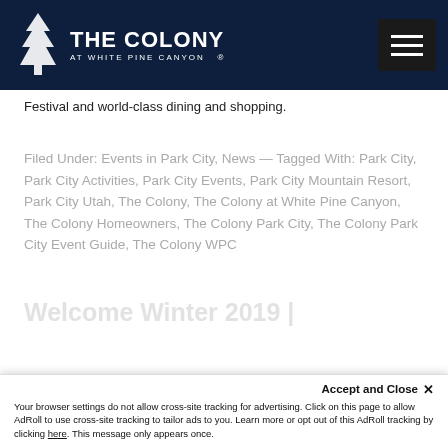THE COLONY AT WHITE PINE CANYON
Festival and world-class dining and shopping.
Filed Under: Events in Park City, News — Tagged With: Park City, Park City Activities, Park City Events, Park City Mountain Resort, Park City Utah, The Colony, The Colony at White Pine Canyon, The Colony Homeowners, The Colony Park City, The Colony Park City Event Guide, The Colony WPC
Welcome Winter 2019 |
Your browser settings do not allow cross-site tracking for advertising. Click on this page to allow AdRoll to use cross-site tracking to tailor ads to you. Learn more or opt out of this AdRoll tracking by clicking here. This message only appears once.